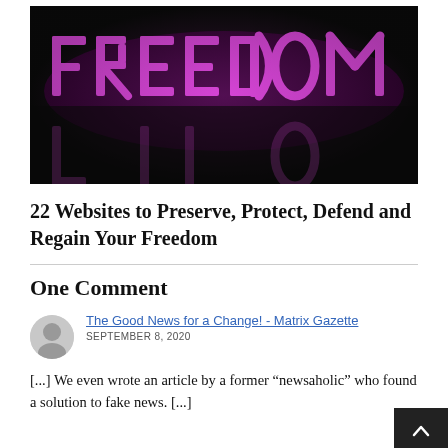[Figure (photo): Dark background image with the word FREEDOM displayed in glowing pink/magenta neon 3D letters, with reflections below on a dark surface.]
22 Websites to Preserve, Protect, Defend and Regain Your Freedom
One Comment
The Good News for a Change! - Matrix Gazette
SEPTEMBER 8, 2020
[...] We even wrote an article by a former “newsaholic” who found a solution to fake news. [...]